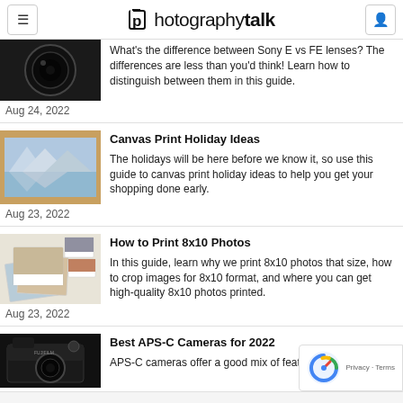photographytalk
What's the difference between Sony E vs FE lenses? The differences are less than you'd think! Learn how to distinguish between them in this guide.
Aug 24, 2022
Canvas Print Holiday Ideas
The holidays will be here before we know it, so use this guide to canvas print holiday ideas to help you get your shopping done early.
Aug 23, 2022
How to Print 8x10 Photos
In this guide, learn why we print 8x10 photos that size, how to crop images for 8x10 format, and where you can get high-quality 8x10 photos printed.
Aug 23, 2022
Best APS-C Cameras for 2022
APS-C cameras offer a good mix of features and